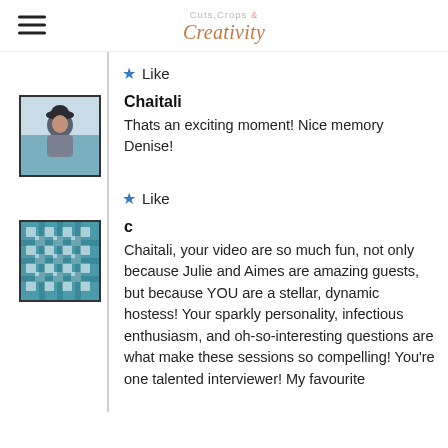Cuts Crops & Creativity
Like
[Figure (photo): Profile photo of Chaitali, a person wearing a dark cap outdoors]
Chaitali
Thats an exciting moment! Nice memory Denise!
Like
[Figure (illustration): Avatar with teal geometric/quilt pattern design]
c
Chaitali, your video are so much fun, not only because Julie and Aimes are amazing guests, but because YOU are a stellar, dynamic hostess! Your sparkly personality, infectious enthusiasm, and oh-so-interesting questions are what make these sessions so compelling! You're one talented interviewer! My favourite